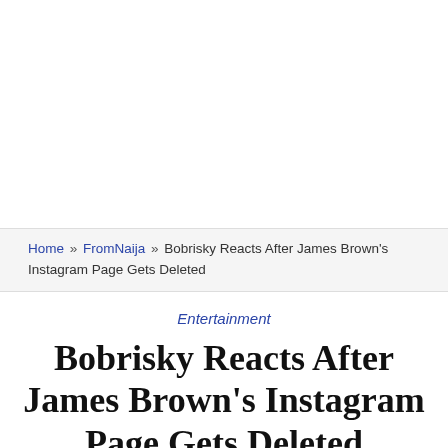Home » FromNaija » Bobrisky Reacts After James Brown's Instagram Page Gets Deleted
Entertainment
Bobrisky Reacts After James Brown's Instagram Page Gets Deleted